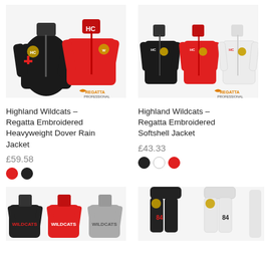[Figure (photo): Highland Wildcats Regatta Heavyweight Dover Rain Jacket - black and red versions shown]
[Figure (photo): Highland Wildcats Regatta Embroidered Softshell Jacket - black, red, white versions shown]
Highland Wildcats - Regatta Embroidered Heavyweight Dover Rain Jacket
£59.58
Highland Wildcats - Regatta Embroidered Softshell Jacket
£43.33
[Figure (photo): Highland Wildcats sweatshirts in black, red, grey]
[Figure (photo): Highland Wildcats joggers/sweatpants in black and grey]